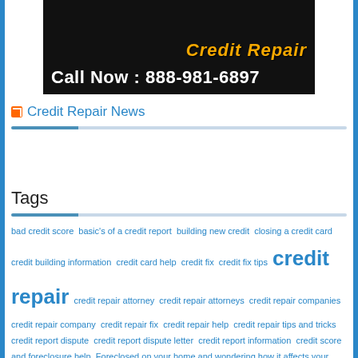[Figure (photo): Dark banner with a person in a suit, text 'Credit Repair' in yellow-gold italic and 'Call Now: 888-981-6897' in white bold on black background]
Credit Repair News
Tags
bad credit score basic's of a credit report building new credit closing a credit card credit building information credit card help credit fix credit fix tips credit repair credit repair attorney credit repair attorneys credit repair companies credit repair company credit repair fix credit repair help credit repair tips and tricks credit report dispute credit report dispute letter credit report information credit score and foreclosure help Foreclosed on your home and wondering how it affects your credit worthiness? Lets walk through it together. free credit repair tips help with foreclosure and credit score how to's on repairing credit scores how to repair your credit fast legal credit repair legalities of credit repair quick credit repair repairing